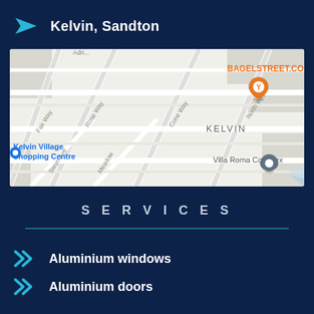Kelvin, Sandton
[Figure (map): Google Maps view of Kelvin, Sandton area showing streets (Fair Way, Rose Way, Cone Way, North Way, Steyn Ave, Meadow), landmarks (Kelvin Village Shopping Centre, Villa Roma Complex), and two orange restaurant pins labeled BAGELSTREET.CO and Akhalz Kelvin (Akhalwayas)]
S e r v i c e s
Aluminium windows
Aluminium doors